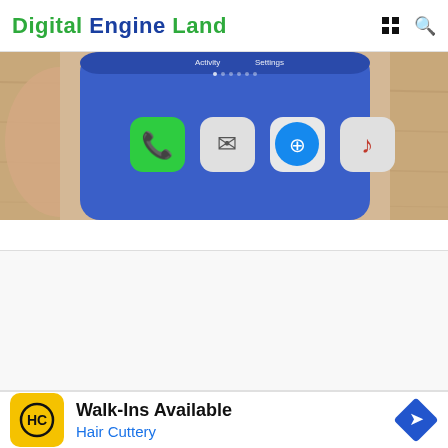Digital Engine Land
[Figure (photo): A hand holding a smartphone showing iOS home screen with app icons including Phone, Mail, Safari, and Music apps visible on a blue background, placed on a wooden surface]
[Figure (other): Advertisement placeholder area (empty/blank)]
[Figure (other): Advertisement: Walk-Ins Available - Hair Cuttery, with HC logo on yellow background and a blue navigation arrow icon]